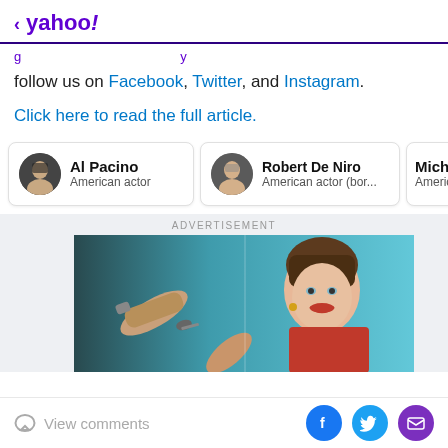< yahoo!
follow us on Facebook, Twitter, and Instagram.
Click here to read the full article.
Al Pacino
American actor
Robert De Niro
American actor (bor...
Michael
American t
[Figure (photo): Advertisement photo showing a smiling woman in red receiving car keys from another person, with a car interior in background]
View comments